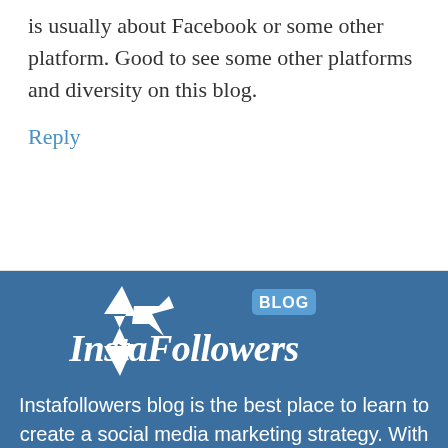is usually about Facebook or some other platform. Good to see some other platforms and diversity on this blog.
Reply
[Figure (logo): InstaFollowers Blog logo — white star/lightning bolt icon with 'InstaFollowers' in script font and 'BLOG' badge, on blue background]
Instafollowers blog is the best place to learn to create a social media marketing strategy. With countless